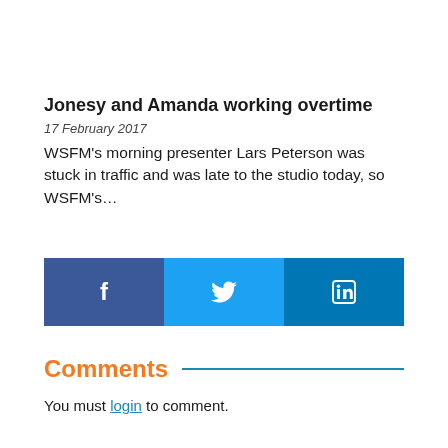Jonesy and Amanda working overtime
17 February 2017
WSFM's morning presenter Lars Peterson was stuck in traffic and was late to the studio today, so WSFM's…
[Figure (infographic): Social sharing bar with three buttons: Facebook (dark blue), Twitter (light blue), LinkedIn (medium blue), each with their respective white icons.]
Comments
You must login to comment.